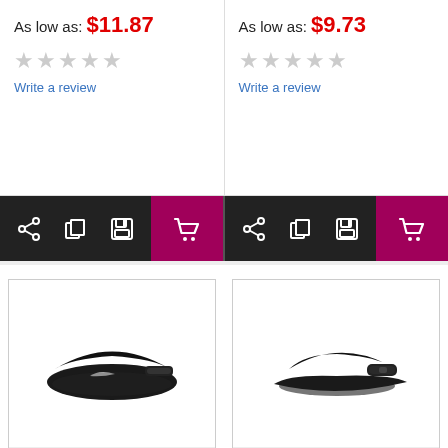As low as: $11.87
★★★★★ Write a review
As low as: $9.73
★★★★★ Write a review
[Figure (photo): Black Nike Dri-FIT Swoosh Visor with white swoosh logo on a white background]
Nike Dri-FIT Swoosh Visor. 429466
[Figure (photo): Black Port Authority Fashion Visor on a white background]
Port Authority ® Fashion Visor. C840